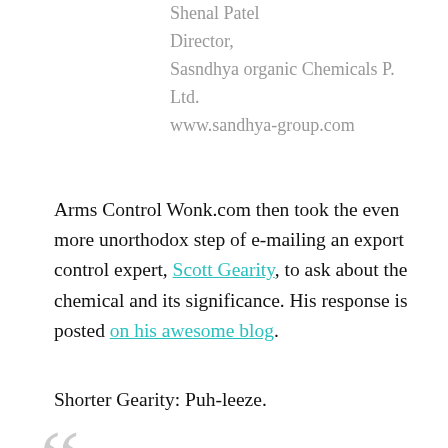Shenal Patel
Director,
Sasndhya organic Chemicals P. Ltd.
www.sandhya-group.com
Arms Control Wonk.com then took the even more unorthodox step of e-mailing an export control expert, Scott Gearity, to ask about the chemical and its significance. His response is posted on his awesome blog.
Shorter Gearity: Puh-leeze.